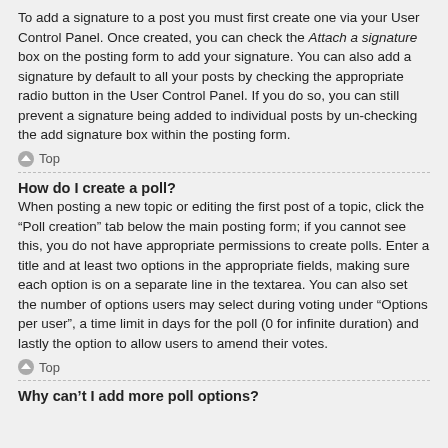To add a signature to a post you must first create one via your User Control Panel. Once created, you can check the Attach a signature box on the posting form to add your signature. You can also add a signature by default to all your posts by checking the appropriate radio button in the User Control Panel. If you do so, you can still prevent a signature being added to individual posts by un-checking the add signature box within the posting form.
Top
How do I create a poll?
When posting a new topic or editing the first post of a topic, click the “Poll creation” tab below the main posting form; if you cannot see this, you do not have appropriate permissions to create polls. Enter a title and at least two options in the appropriate fields, making sure each option is on a separate line in the textarea. You can also set the number of options users may select during voting under “Options per user”, a time limit in days for the poll (0 for infinite duration) and lastly the option to allow users to amend their votes.
Top
Why can’t I add more poll options?